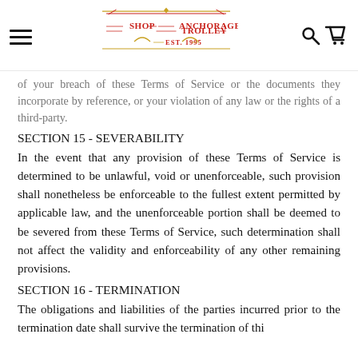Shop Anchorage Trolley Est. 1995 — navigation header with hamburger menu, logo, search and cart icons
…of your breach of these Terms of Service or the documents they incorporate by reference, or your violation of any law or the rights of a third-party.
SECTION 15 - SEVERABILITY
In the event that any provision of these Terms of Service is determined to be unlawful, void or unenforceable, such provision shall nonetheless be enforceable to the fullest extent permitted by applicable law, and the unenforceable portion shall be deemed to be severed from these Terms of Service, such determination shall not affect the validity and enforceability of any other remaining provisions.
SECTION 16 - TERMINATION
The obligations and liabilities of the parties incurred prior to the termination date shall survive the termination of this…